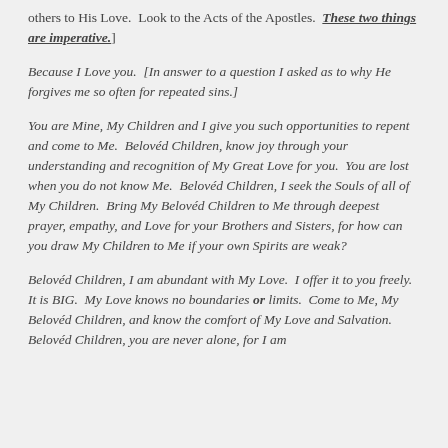others to His Love.  Look to the Acts of the Apostles.  These two things are imperative.]
Because I Love you.  [In answer to a question I asked as to why He forgives me so often for repeated sins.]
You are Mine, My Children and I give you such opportunities to repent and come to Me.  Belovéd Children, know joy through your understanding and recognition of My Great Love for you.  You are lost when you do not know Me.  Belovéd Children, I seek the Souls of all of My Children.  Bring My Belovéd Children to Me through deepest prayer, empathy, and Love for your Brothers and Sisters, for how can you draw My Children to Me if your own Spirits are weak?
Belovéd Children, I am abundant with My Love.  I offer it to you freely.  It is BIG.  My Love knows no boundaries or limits.  Come to Me, My Belovéd Children, and know the comfort of My Love and Salvation.  Belovéd Children, you are never alone, for I am